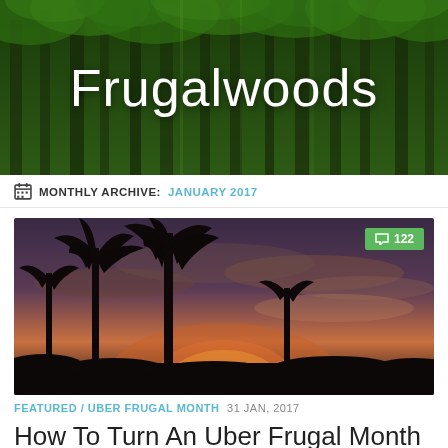[Figure (photo): Forest background banner with green trees and the Frugalwoods blog title overlaid in white text]
Frugalwoods
MONTHLY ARCHIVE: JANUARY 2017
[Figure (photo): Sunset photograph with palm tree silhouettes against a dramatic orange and purple sky, with a comment badge showing 122 comments]
FEATURED / UBER FRUGAL MONTH 31 JAN, 2017
How To Turn An Uber Frugal Month Into An Uber Frugal Life